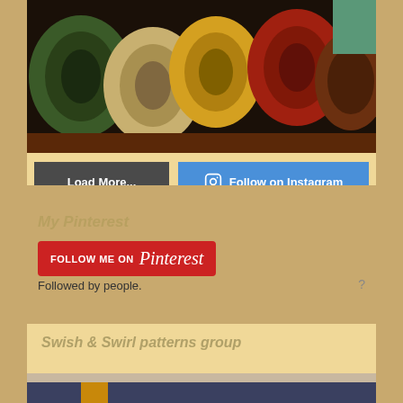[Figure (photo): Rolls of colorful fabric in green, beige, yellow/gold, and red, viewed from the end showing circular cross-sections, displayed on a dark wooden surface]
Load More...
Follow on Instagram
My Pinterest
[Figure (logo): Follow Me on Pinterest red badge button]
Followed by people.
Swish & Swirl patterns group
[Figure (photo): Partial photo strip showing dark knitting or fabric with a brown bag strap visible]